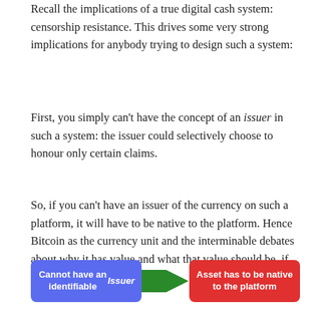Recall the implications of a true digital cash system: censorship resistance. This drives some very strong implications for anybody trying to design such a system:
First, you simply can't have the concept of an issuer in such a system: the issuer could selectively choose to honour only certain claims.
So, if you can't have an issuer of the currency on such a platform, it will have to be native to the platform. Hence Bitcoin as the currency unit and the interminable debates about why it has value and what that value should be, if anything.
[Figure (infographic): Two colored boxes connected by a green arrow. Left blue box: 'Cannot have an identifiable Issuer'. Green arrow pointing right. Right red box: 'Asset has to be native to the platform'.]